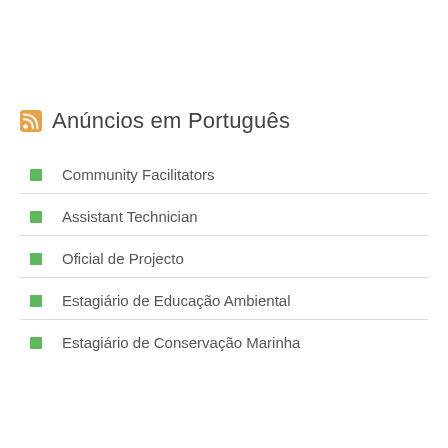Anúncios em Português
Community Facilitators
Assistant Technician
Oficial de Projecto
Estagiário de Educação Ambiental
Estagiário de Conservação Marinha